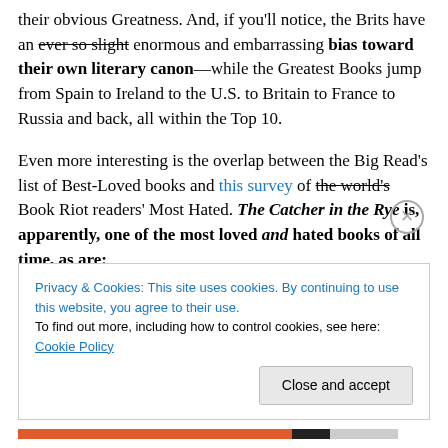their obvious Greatness. And, if you'll notice, the Brits have an ever so slight enormous and embarrassing bias toward their own literary canon—while the Greatest Books jump from Spain to Ireland to the U.S. to Britain to France to Russia and back, all within the Top 10.
Even more interesting is the overlap between the Big Read's list of Best-Loved books and this survey of the world's Book Riot readers' Most Hated. The Catcher in the Rye is, apparently, one of the most loved and hated books of all time, as are:
Privacy & Cookies: This site uses cookies. By continuing to use this website, you agree to their use. To find out more, including how to control cookies, see here: Cookie Policy